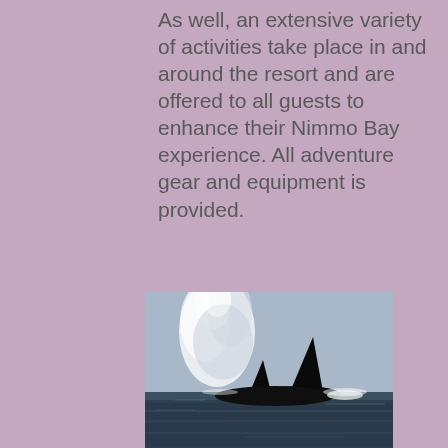As well, an extensive variety of activities take place in and around the resort and are offered to all guests to enhance their Nimmo Bay experience. All adventure gear and equipment is provided.
[Figure (photo): Two orca (killer whale) dorsal fins rising out of calm dark water, with a large water spout spray visible against a grey sky.]
[Figure (photo): A person fishing at the edge of a calm lake surrounded by dense green forested mountains and hills.]